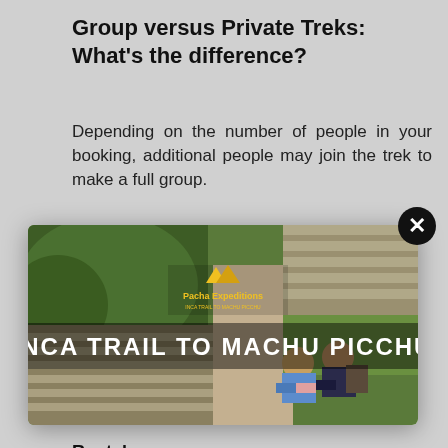Group versus Private Treks: What's the difference?
Depending on the number of people in your booking, additional people may join the trek to make a full group.
[Figure (photo): Modal popup image showing Inca Trail to Machu Picchu with two hikers sitting on ancient stone terraces, with Pacha Expeditions logo and text overlay 'INCA TRAIL TO MACHU PICCHU'. A close button (X) is in the top-right corner of the modal.]
Rentals
Hiking poles – U$: 10 (pair)
a Horse – U$: 100
BOOK NOW